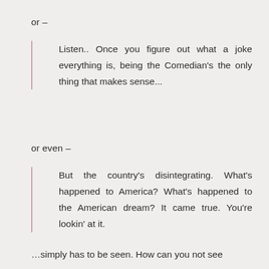or –
Listen.. Once you figure out what a joke everything is, being the Comedian's the only thing that makes sense...
or even –
But the country's disintegrating. What's happened to America? What's happened to the American dream? It came true. You're lookin' at it.
…simply has to be seen. How can you not see